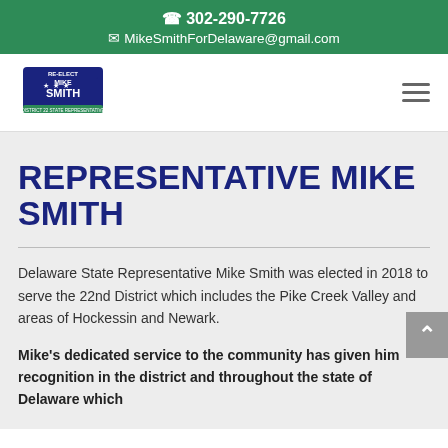302-290-7726
MikeSmithForDelaware@gmail.com
[Figure (logo): Re-elect Mike Smith campaign logo with stars and banner]
REPRESENTATIVE MIKE SMITH
Delaware State Representative Mike Smith was elected in 2018 to serve the 22nd District which includes the Pike Creek Valley and areas of Hockessin and Newark.
Mike's dedicated service to the community has given him recognition in the district and throughout the state of Delaware which